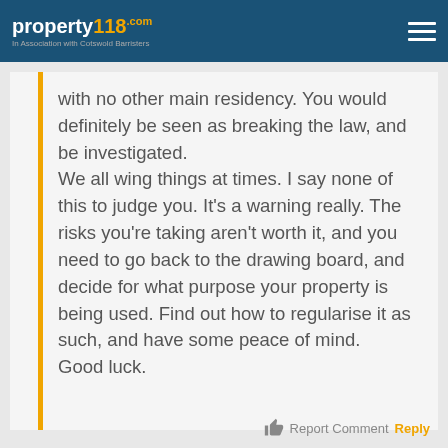property118.com — In Association with Cotswold Barristers
with no other main residency. You would definitely be seen as breaking the law, and be investigated. We all wing things at times. I say none of this to judge you. It's a warning really. The risks you're taking aren't worth it, and you need to go back to the drawing board, and decide for what purpose your property is being used. Find out how to regularise it as such, and have some peace of mind. Good luck.
Report Comment  Reply